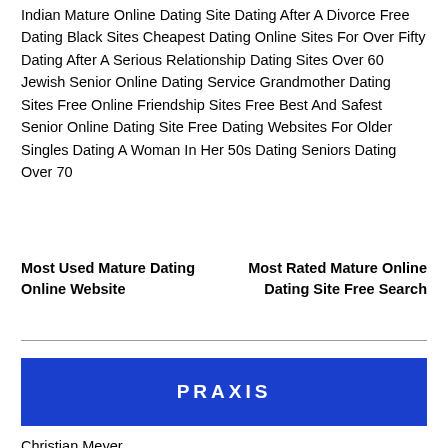Indian Mature Online Dating Site Dating After A Divorce Free Dating Black Sites Cheapest Dating Online Sites For Over Fifty Dating After A Serious Relationship Dating Sites Over 60 Jewish Senior Online Dating Service Grandmother Dating Sites Free Online Friendship Sites Free Best And Safest Senior Online Dating Site Free Dating Websites For Older Singles Dating A Woman In Her 50s Dating Seniors Dating Over 70
Most Used Mature Dating Online Website
Most Rated Mature Online Dating Site Free Search
PRAXIS
Christian Meyer